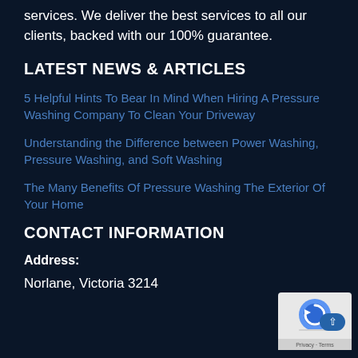services. We deliver the best services to all our clients, backed with our 100% guarantee.
LATEST NEWS & ARTICLES
5 Helpful Hints To Bear In Mind When Hiring A Pressure Washing Company To Clean Your Driveway
Understanding the Difference between Power Washing, Pressure Washing, and Soft Washing
The Many Benefits Of Pressure Washing The Exterior Of Your Home
CONTACT INFORMATION
Address:
Norlane, Victoria 3214
[Figure (other): Google reCAPTCHA badge with scroll-to-top button]